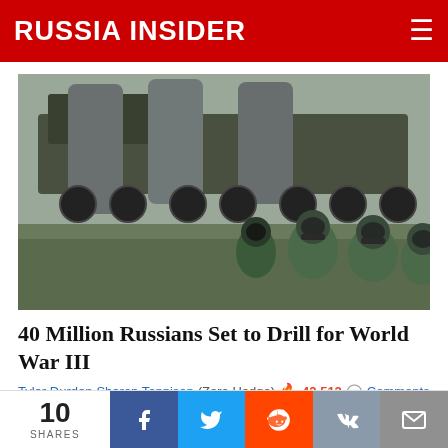RUSSIA INSIDER
[Figure (photo): Military missile launchers on trucks with soldiers in green hazmat suits and gas masks in the foreground, outdoors in a field setting]
40 Million Russians Set to Drill for World War III
Tyler Durden  Sharon Tennison  (Zero Hedge) 🔥 42,512 💬 Comments
[Figure (photo): Partial view of a blonde woman in front of a blue TV studio backdrop]
10 SHARES